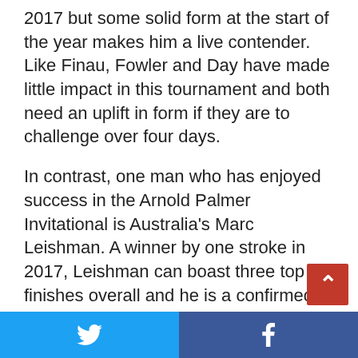2017 but some solid form at the start of the year makes him a live contender. Like Finau, Fowler and Day have made little impact in this tournament and both need an uplift in form if they are to challenge over four days.
In contrast, one man who has enjoyed success in the Arnold Palmer Invitational is Australia's Marc Leishman. A winner by one stroke in 2017, Leishman can boast three top 10 finishes overall and he is a confirmed tip for another single digit finish this year.
Others to consider include Justin Rose, Henrik Stenson, Bubba Watson, Billy Horschel, Viktor Hovland, Ian Poulter and
Twitter | Facebook